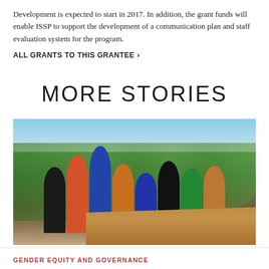Development is expected to start in 2017. In addition, the grant funds will enable ISSP to support the development of a communication plan and staff evaluation system for the program.
ALL GRANTS TO THIS GRANTEE ›
MORE STORIES
[Figure (photo): A group of African women standing outdoors in a rural setting with green vegetation in the background. The central woman in a blue top has her arms raised in celebration. Other women around her are also celebrating or clapping.]
GENDER EQUITY AND GOVERNANCE